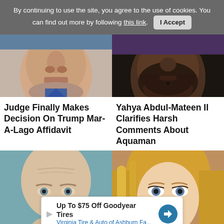By continuing to use the site, you agree to the use of cookies. You can find out more by following this link.  I Accept
[Figure (photo): Close-up photo of an older man's face (lower portion), appears to be a news figure]
[Figure (photo): Close-up photo of a bearded Black man's lower face/chin with a small tattoo on his chin]
Judge Finally Makes Decision On Trump Mar-A-Lago Affidavit
Yahya Abdul-Mateen II Clarifies Harsh Comments About Aquaman
[Figure (photo): Close-up photo of a bald/shaved-head man with blue-green eyes against a teal background]
[Figure (photo): Close-up photo of a blonde woman with blue eyes against a warm background]
Up To $75 Off Goodyear Tires Virginia Tire & Auto of Ashburn Fa...